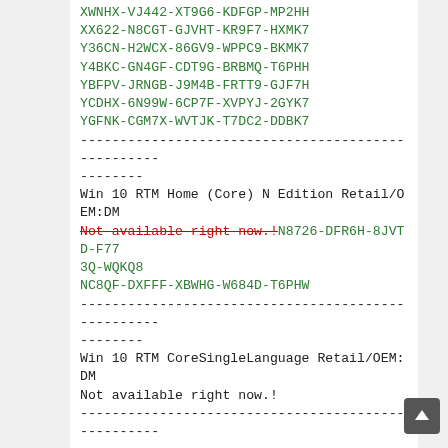XWNHX-VJ442-XT9G6-KDFGP-MP2HH
XX622-N8CGT-GJVHT-KR9F7-HXMK7
Y36CN-H2WCX-86GV9-WPPC9-BKMK7
Y4BKC-GN4GF-CDT9G-BRBMQ-T6PHH
YBFPV-JRNGB-J9M4B-FRTT9-GJF7H
YCDHX-6N99W-6CP7F-XVPYJ-2GYK7
YGFNK-CGM7X-WVTJK-T7DC2-DDBK7
-----------------------------------------------------------
--------
Win 10 RTM Home (Core) N Edition Retail/OEM:DM
Not available right now.! [strikethrough/red] N8726-DFR6H-8JVTD-F773Q-WQKQ8
NC8QF-DXFFF-XBWHG-W684D-T6PHW
-----------------------------------------------------------
--------
Win 10 RTM CoreSingleLanguage Retail/OEM:DM
Not available right now.!
-----------------------------------------------------------
--------
Win 10 RTM CoreSingleLanguage N Retail/OEM:DM
Not available right now.!
-----------------------------------------------------------
--------